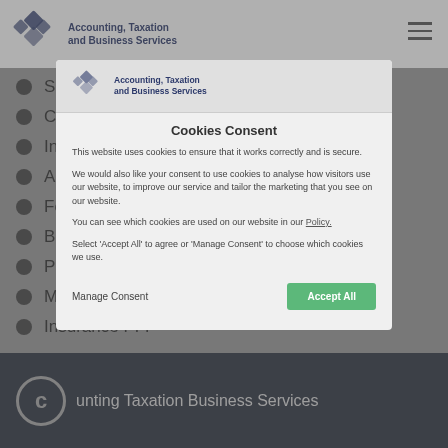Accounting, Taxation and Business Services
Self Assessment Returns
Corporation Tax Returns
International Taxation
Annual Accounts
Forensic Accountancy
Bookkeeping
Payroll Services
Making Tax Digital
Insurance PFP
[Figure (screenshot): Cookies Consent modal overlay showing logo, consent text about website cookies for functionality and analytics, a 'Manage Consent' button and an 'Accept All' green button]
© Accounting Taxation Business Services